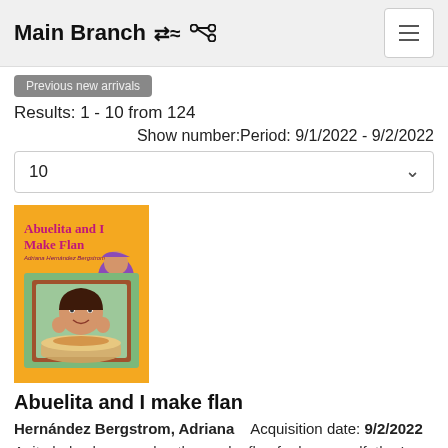Main Branch
Previous new arrivals
Results: 1 - 10 from 124
Show number:Period: 9/1/2022 - 9/2/2022
10
[Figure (illustration): Book cover for 'Abuelita and I Make Flan' by Adriana Hernández Bergstrom, featuring colorful cartoon illustration on orange background]
Abuelita and I make flan
Hernández Bergstrom, Adriana   Acquisition date: 9/2/2022
Anita helps her grandmother make flan for her grandfather's birthday.  Read more